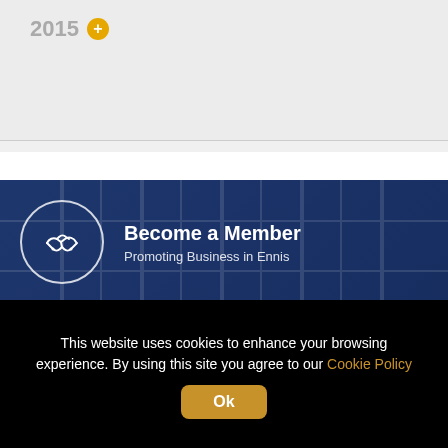2015 +
Become a Member
Promoting Business in Ennis
Contact Us
This website uses cookies to enhance your browsing experience. By using this site you agree to our Cookie Policy
Ok